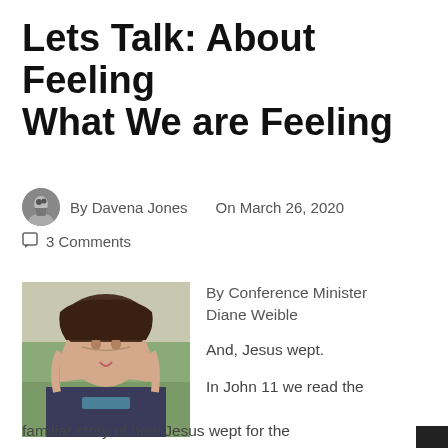Lets Talk: About Feeling What We are Feeling
By Davena Jones   On March 26, 2020
3 Comments
[Figure (photo): Portrait photo of a woman with dark hair, smiling, outdoors with greenery in background]
By Conference Minister Diane Weible
And, Jesus wept.
In John 11 we read the familiar story of how Jesus wept for the